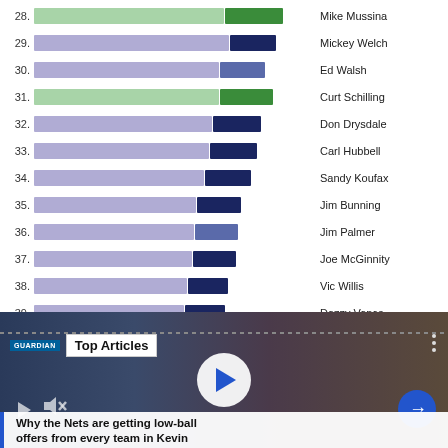[Figure (bar-chart): Baseball pitcher rankings 28-40]
[Figure (photo): Video player thumbnail showing a Brooklyn Nets basketball player (Kevin Durant) with Top Articles overlay label and article headline: Why the Nets are getting low-ball offers from every team in Kevin]